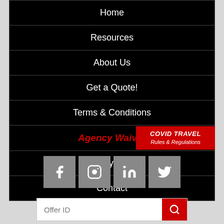Home
Resources
About Us
Get a Quote!
Terms & Conditions
Agency Waiver
[Figure (infographic): Red banner overlay reading COVID TRAVEL Rules & Regulations]
Privacy Policy
Contact
[Figure (infographic): Social media icons: Facebook, Instagram, LinkedIn, Twitter]
Offer ID [search input with red search button]